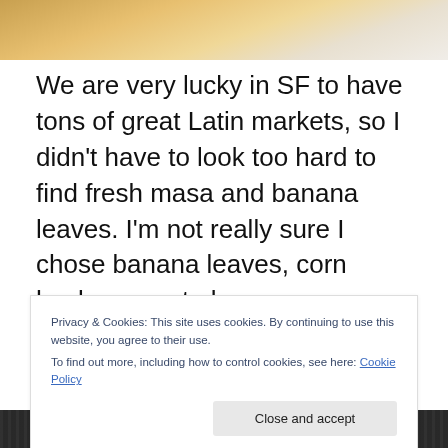[Figure (photo): Top portion of a food photo, showing what appears to be a tamale or similar food item with orange/golden color on a white background]
We are very lucky in SF to have tons of great Latin markets, so I didn't have to look too hard to find fresh masa and banana leaves. I'm not really sure I chose banana leaves, corn husks seem to be more traditional. I was holding both in the store, having a hard tome deciding. It must have been the color of the banana leaves
Privacy & Cookies: This site uses cookies. By continuing to use this website, you agree to their use.
To find out more, including how to control cookies, see here: Cookie Policy
[Figure (photo): Bottom portion of a dark food/cooking photo, showing what appears to be dark ingredients or a cooking scene]